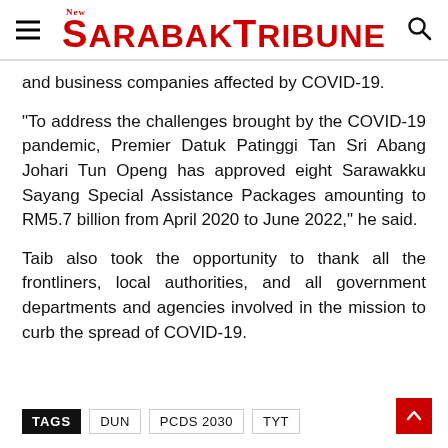New Sarawak Tribune
and business companies affected by COVID-19.
“To address the challenges brought by the COVID-19 pandemic, Premier Datuk Patinggi Tan Sri Abang Johari Tun Openg has approved eight Sarawakku Sayang Special Assistance Packages amounting to RM5.7 billion from April 2020 to June 2022,” he said.
Taib also took the opportunity to thank all the frontliners, local authorities, and all government departments and agencies involved in the mission to curb the spread of COVID-19.
TAGS  DUN  PCDS 2030  TYT